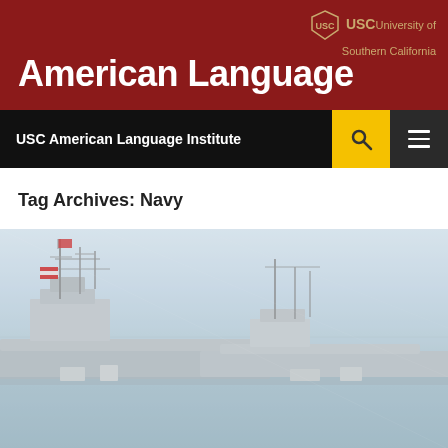American Language
USC University of Southern California
USC American Language Institute
Tag Archives: Navy
[Figure (photo): Photo of Navy ships docked at a port, hazy/foggy conditions, with masts, antennas, and flags visible. Ships appear to be military naval vessels at a harbor.]